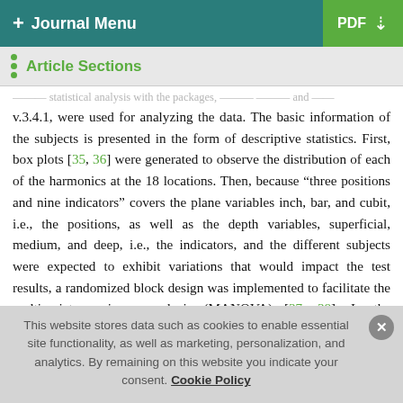+ Journal Menu   PDF ↓
Article Sections
v.3.4.1, were used for analyzing the data. The basic information of the subjects is presented in the form of descriptive statistics. First, box plots [35, 36] were generated to observe the distribution of each of the harmonics at the 18 locations. Then, because "three positions and nine indicators" covers the plane variables inch, bar, and cubit, i.e., the positions, as well as the depth variables, superficial, medium, and deep, i.e., the indicators, and the different subjects were expected to exhibit variations that would impact the test results, a randomized block design was implemented to facilitate the multivariate variance analysis (MANOVA) [37, 38]. In the MANOVA, different
This website stores data such as cookies to enable essential site functionality, as well as marketing, personalization, and analytics. By remaining on this website you indicate your consent. Cookie Policy